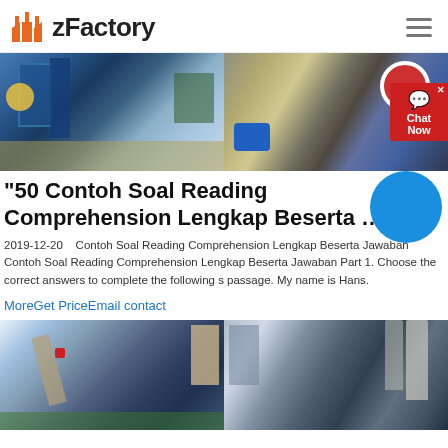zFactory
[Figure (photo): Two industrial/mining facility photos side by side: left shows blue industrial plant structures, right shows a conveyor/crusher machine closeup]
“50 Contoh Soal Reading Comprehension Lengkap Beserta …
2019-12-20    Contoh Soal Reading Comprehension Lengkap Beserta Jawaban Contoh Soal Reading Comprehension Lengkap Beserta Jawaban Part 1. Choose the correct answers to complete the following s passage. My name is Hans.
MoreGet PriceEmail contact
[Figure (photo): Industrial plant/factory wide shot showing large structures, cranes, and silos against blue sky]